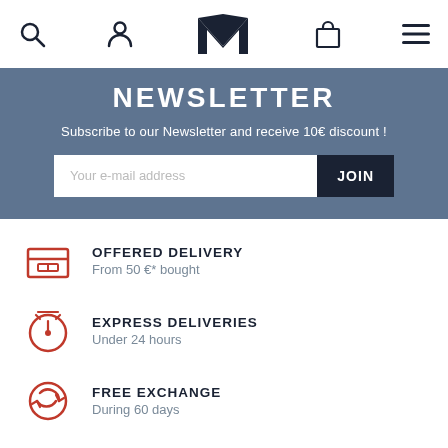search | account | M logo | bag | menu
NEWSLETTER
Subscribe to our Newsletter and receive 10€ discount !
Your e-mail address | JOIN
OFFERED DELIVERY
From 50 €* bought
EXPRESS DELIVERIES
Under 24 hours
FREE EXCHANGE
During 60 days